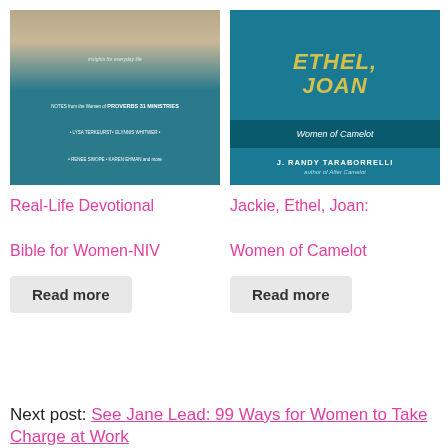[Figure (photo): Book cover: Real-Life Devotional Bible for Women-NIV, teal and gold design with floral elements]
[Figure (photo): Book cover: Jackie, Ethel, Joan: Women of Camelot by J. Randy Taraborrelli, teal background with gold text]
Real-Life Devotional Bible for Women-NIV
Jackie, Ethel, Joan: Women of Camelot
Read more
Read more
Next post: See Jane Lead: 99 Ways for Women to Take Charge at Work